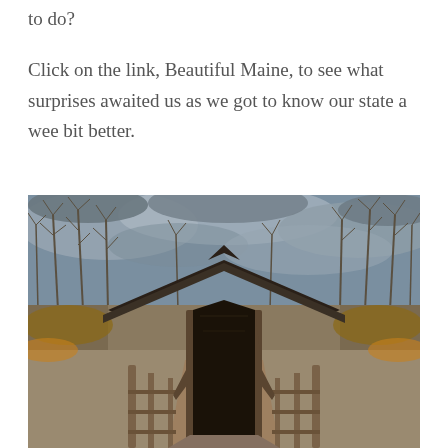to do?
Click on the link, Beautiful Maine, to see what surprises awaited us as we got to know our state a wee bit better.
[Figure (photo): A wooden covered bridge structure with a dark peaked roof, surrounded by bare winter trees and overcast cloudy sky, viewed from a straight-on perspective showing the tunnel entrance with wooden railings on each side.]